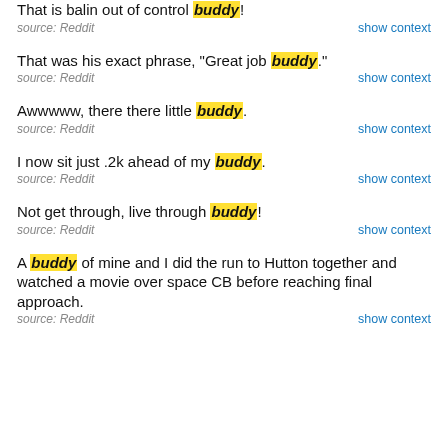That is balin out of control buddy!
source: Reddit
That was his exact phrase, "Great job buddy."
source: Reddit
Awwwww, there there little buddy.
source: Reddit
I now sit just .2k ahead of my buddy.
source: Reddit
Not get through, live through buddy!
source: Reddit
A buddy of mine and I did the run to Hutton together and watched a movie over space CB before reaching final approach.
source: Reddit